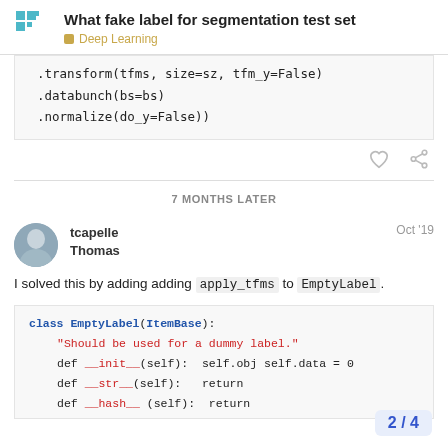What fake label for segmentation test set — Deep Learning
.transform(tfms, size=sz, tfm_y=False)
.databunch(bs=bs)
.normalize(do_y=False))
7 MONTHS LATER
tcapelle Thomas Oct '19
I solved this by adding adding apply_tfms to EmptyLabel.
class EmptyLabel(ItemBase):
    "Should be used for a dummy label."
    def __init__(self): self.obj self.data = 0
    def __str__(self):  return
    def __hash__ (self): return